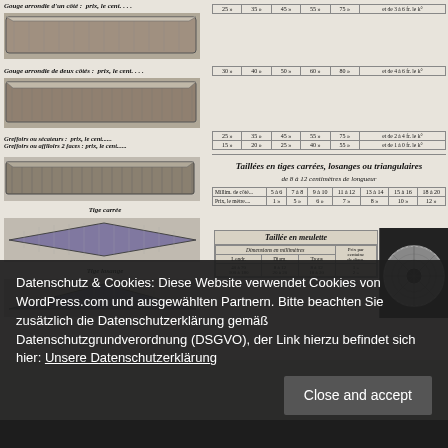[Figure (illustration): Gouge arrondie d'un côté - woodworking tool image (flat plank shaped)]
Gouge arrondie d'un côté : prix, le cent....
| 25 | 35 | 45 | 55 | 75 | et de 3 à 6 fr. le k° |
| --- | --- | --- | --- | --- | --- |
[Figure (illustration): Gouge arrondie de deux côtés - woodworking tool image]
Gouge arrondie de deux côtés : prix, le cent....
| 30 | 40 | 50 | 60 | 80 | et de 4 à 6 fr. le k° |
| --- | --- | --- | --- | --- | --- |
Greffoirs ou sécateurs : prix, le cent......  25  »  35  »  45  »  55  »  75  »  et de 2 à 4 fr. le k°
Greffoirs ou affiloirs 2 faces : prix, le cent......  15  »  20  »  25  »  40  »  55  »  et de 1 à 0 fr. le k°
[Figure (illustration): Tige carrée - square steel rod image]
Tige carrée
[Figure (illustration): Tige losange - diamond/rhombus shaped rod image]
Tige losange
[Figure (illustration): Another rod/tige image]
Taillées en tiges carrées, losanges ou triangulaires
de 8 à 12 centimètres de longueur
| Millim. de côté | 5 à 6 | 7 à 8 | 9 à 10 | 11 à 12 | 13 à 14 | 15 à 16 | 18 à 20 |
| --- | --- | --- | --- | --- | --- | --- | --- |
| Prix, le mètre.... | 1 » | 5 » | 6 » | 7 » | 8 » | 10 » | 12 » |
| Taillée en meulette |
| --- |
| Dimensions en millimètres |  |  | Prix par centaine de diam. |
| Londr. | Diam. | Trous |  |
| 40 à 70
100 à 180 | 8 à 12
20 à 20 | 8 à 12
10 à 20 | 1 »
2 » |
[Figure (illustration): Stone grinding wheel / meulette - circular grinding wheel with hole]
Datenschutz & Cookies: Diese Website verwendet Cookies von WordPress.com und ausgewählten Partnern. Bitte beachten Sie zusätzlich die Datenschutzerklärung gemäß Datenschutzgrundverordnung (DSGVO), der Link hierzu befindet sich hier: Unsere Datenschutzerklärung
Close and accept